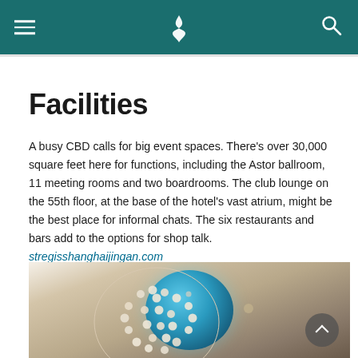Cathay Pacific navigation header
Facilities
A busy CBD calls for big event spaces. There's over 30,000 square feet here for functions, including the Astor ballroom, 11 meeting rooms and two boardrooms. The club lounge on the 55th floor, at the base of the hotel's vast atrium, might be the best place for informal chats. The six restaurants and bars add to the options for shop talk. stregisshanghaijingan.com
[Figure (photo): Interior hotel photo showing a large ornate chandelier with pearl-like spherical decorations hanging in an atrium with blue domed ceiling detail]